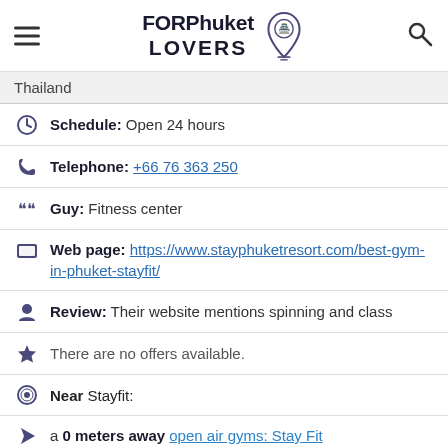FORPhuket LOVERS
Thailand
Schedule: Open 24 hours
Telephone: +66 76 363 250
Guy: Fitness center
Web page: https://www.stayphuketresort.com/best-gym-in-phuket-stayfit/
Review: Their website mentions spinning and class
There are no offers available.
Near Stayfit:
a 0 meters away open air gyms: Stay Fit
Are you the owner of the business? PROMOTE IT!